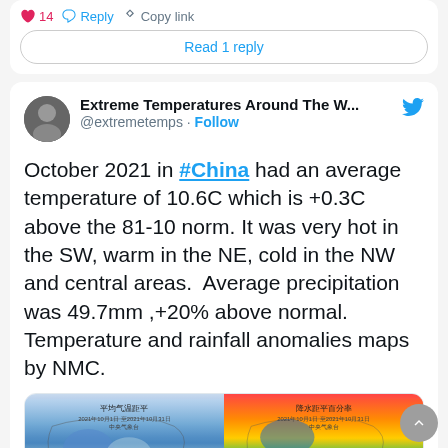14  Reply  Copy link
Read 1 reply
Extreme Temperatures Around The W... @extremetemps · Follow
October 2021 in #China had an average temperature of 10.6C which is +0.3C above the 81-10 norm. It was very hot in the SW, warm in the NE, cold in the NW and central areas.  Average precipitation was 49.7mm ,+20% above normal. Temperature and rainfall anomalies maps by NMC.
[Figure (map): Two side-by-side weather anomaly maps of China from NMC. Left map shows average temperature anomaly (平均气温距平), right map shows precipitation anomaly percentage (降水距平百分率), both for 2021年10月1日至2021年10月31日.]